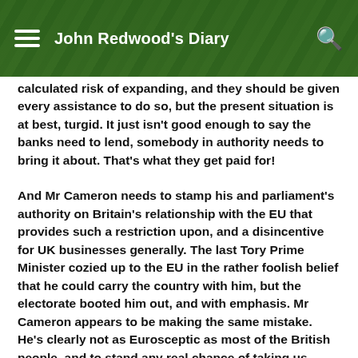John Redwood's Diary
calculated risk of expanding, and they should be given every assistance to do so, but the present situation is at best, turgid. It just isn't good enough to say the banks need to lend, somebody in authority needs to bring it about. That's what they get paid for!
And Mr Cameron needs to stamp his and parliament's authority on Britain's relationship with the EU that provides such a restriction upon, and a disincentive for UK businesses generally. The last Tory Prime Minister cozied up to the EU in the rather foolish belief that he could carry the country with him, but the electorate booted him out, and with emphasis. Mr Cameron appears to be making the same mistake. He's clearly not as Eurosceptic as most of the British people, and to stand any real chance of taking us forward, he has to PROVE that he